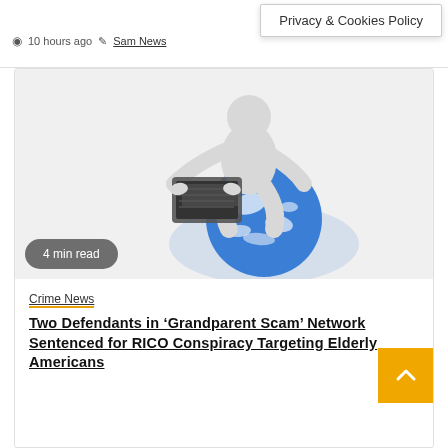10 hours ago  Sam News
Privacy & Cookies Policy
[Figure (illustration): 3D white figure sitting on a blue globe, using a laptop computer. The figure is gray/white, the globe is blue and white.]
4 min read
Crime News
Two Defendants in 'Grandparent Scam' Network Sentenced for RICO Conspiracy Targeting Elderly Americans